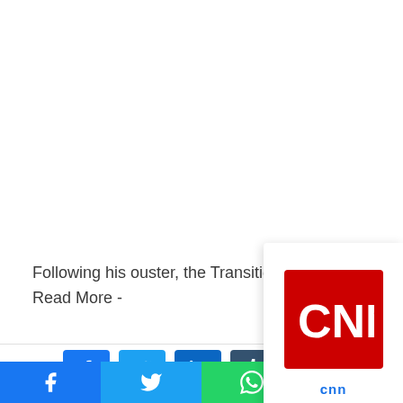Following his ouster, the Transitional Military Co… moved in, announcing a three-year Read More -…
[Figure (logo): CNN logo — white CNN text on red square background, with 'cnn' label in blue below]